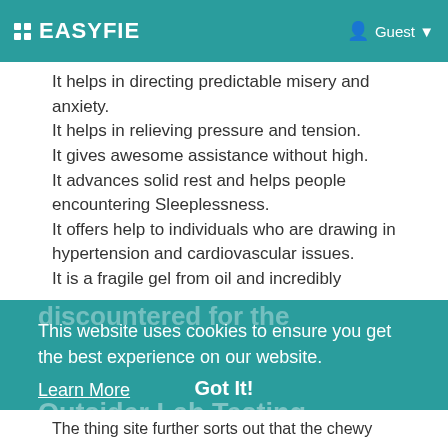EASYFIE | Guest
It helps in directing predictable misery and anxiety.
It helps in relieving pressure and tension.
It gives awesome assistance without high.
It advances solid rest and helps people encountering Sleeplessness.
It offers help to individuals who are drawing in hypertension and cardiovascular issues.
It is a fragile gel from oil and incredibly
Outsider Lab Testing
This website uses cookies to ensure you get the best experience on our website. Learn More
Got It!
The thing site further sorts out that the chewy